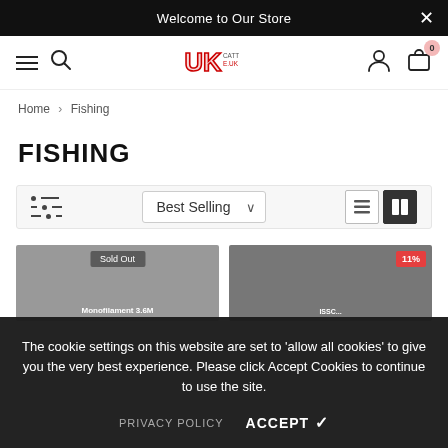Welcome to Our Store
[Figure (logo): UKCatt.uk store logo in red and black]
Home > Fishing
FISHING
Best Selling (sort dropdown)
[Figure (photo): Partially visible product cards including a sold-out item and a product with 11% badge showing Monofilament 3.6M]
The cookie settings on this website are set to 'allow all cookies' to give you the very best experience. Please click Accept Cookies to continue to use the site.
PRIVACY POLICY    ACCEPT ✓